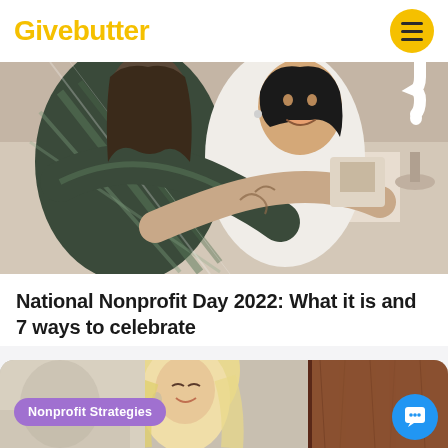Givebutter
[Figure (photo): Two people hugging each other, one wearing a plaid flannel shirt and the other a white t-shirt. The person in white has a tattoo on their arm.]
National Nonprofit Day 2022: What it is and 7 ways to celebrate
[Figure (photo): A woman with blonde hair smiling, partial view. A wooden surface visible on the right.]
Nonprofit Strategies